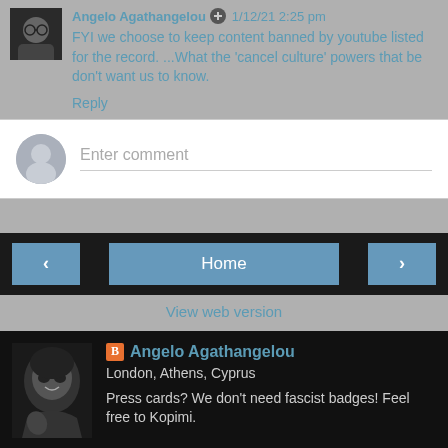Angelo Agathangelou  1/12/21 2:25 pm
FYI we choose to keep content banned by youtube listed for the record. ...What the 'cancel culture' powers that be don't want us to know.
Reply
Enter comment
Home
View web version
Angelo Agathangelou
London, Athens, Cyprus
Press cards? We don't need fascist badges! Feel free to Kopimi.
View my complete profile